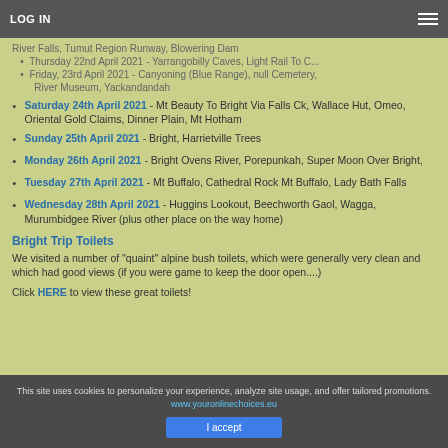LOG IN
Saturday 24th April 2021 - Mt Beauty To Bright Via Falls Ck, Wallace Hut, Omeo, Oriental Gold Claims, Dinner Plain, Mt Hotham
Sunday 25th April 2021 - Bright, Harrietville Trees
Monday 26th April 2021 - Bright Ovens River, Porepunkah, Super Moon Over Bright,
Tuesday 27th April 2021 - Mt Buffalo, Cathedral Rock Mt Buffalo, Lady Bath Falls
Wednesday 28th April 2021 - Huggins Lookout, Beechworth Gaol, Wagga, Murumbidgee River (plus other place on the way home)
Bright Trip Toilets
We visited a number of "quaint" alpine bush toilets, which were generally very clean and which had good views (if you were game to keep the door open....)
Click HERE to view these great toilets!
This site uses cookies to personalize your experience, analyze site usage, and offer tailored promotions. www.youronlinechoices.eu